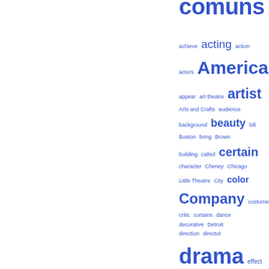[Figure (infographic): Word cloud in blue text showing theatre/arts related terms of varying sizes indicating frequency: comuns (title/large), achieve, acting (large), action, actors, American (very large), appear, art theatre, artist (very large), Arts and Crafts, audience, background, beauty (large), bill, Boston, bring, Brown, building, called, certain (large), character, Cheney, Chicago, Little Theatre, City, color, Company (very large), costumes, critic, curtains, dance, decorative, Detroit, direction, director, drama (huge), effect, Elizabethan (large), entire, established, experiment, experimental, expression]